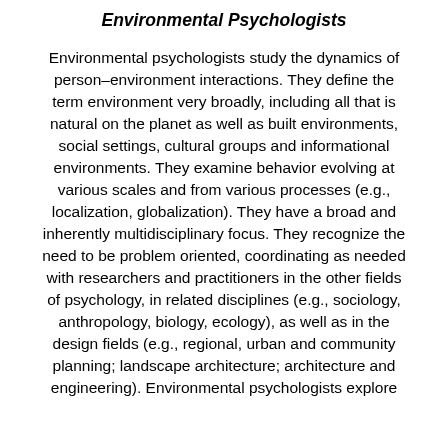Environmental Psychologists
Environmental psychologists study the dynamics of person–environment interactions. They define the term environment very broadly, including all that is natural on the planet as well as built environments, social settings, cultural groups and informational environments. They examine behavior evolving at various scales and from various processes (e.g., localization, globalization). They have a broad and inherently multidisciplinary focus. They recognize the need to be problem oriented, coordinating as needed with researchers and practitioners in the other fields of psychology, in related disciplines (e.g., sociology, anthropology, biology, ecology), as well as in the design fields (e.g., regional, urban and community planning; landscape architecture; architecture and engineering). Environmental psychologists explore